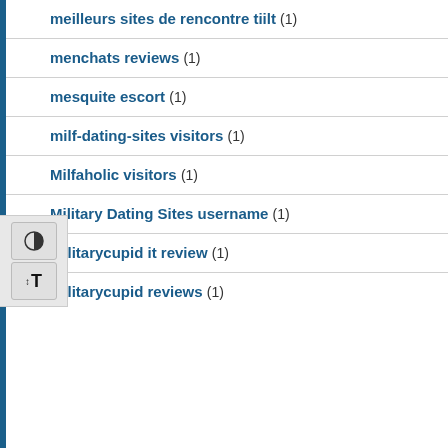meilleurs sites de rencontre tiilt (1)
menchats reviews (1)
mesquite escort (1)
milf-dating-sites visitors (1)
Milfaholic visitors (1)
Military Dating Sites username (1)
militarycupid it review (1)
militarycupid reviews (1)